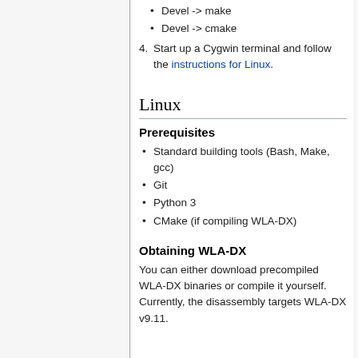Devel -> make
Devel -> cmake
4. Start up a Cygwin terminal and follow the instructions for Linux.
Linux
Prerequisites
Standard building tools (Bash, Make, gcc)
Git
Python 3
CMake (if compiling WLA-DX)
Obtaining WLA-DX
You can either download precompiled WLA-DX binaries or compile it yourself. Currently, the disassembly targets WLA-DX v9.11.